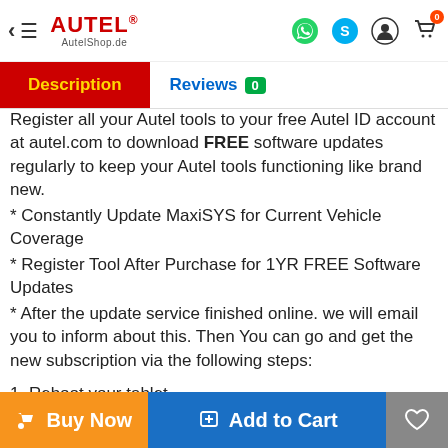Autel AutelShop.de — Navigation bar with Description and Reviews tabs
Register all your Autel tools to your free Autel ID account at autel.com to download FREE software updates regularly to keep your Autel tools functioning like brand new.
* Constantly Update MaxiSYS for Current Vehicle Coverage
* Register Tool After Purchase for 1YR FREE Software Updates
* After the update service finished online. we will email you to inform about this. Then You can go and get the new subscription via the following steps:
1. Reboot your tablet
2. Make Sure that your tablet power is enough for software updating.
3. Make sure the internet connection status is good
Buy Now | Add to Cart | Wishlist